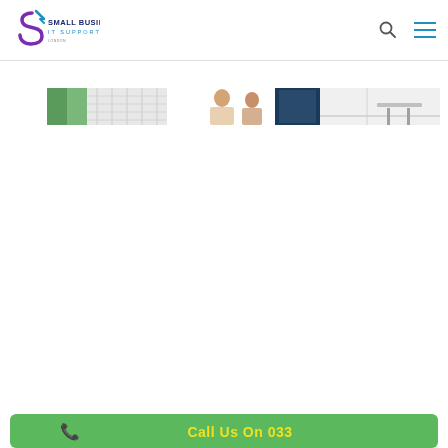[Figure (logo): Small Business IT Support logo with stylized 'S' icon in purple/blue and text 'SMALL BUSINESS IT SUPPORT' below]
[Figure (photo): Wide banner photo showing an office or meeting room environment with people, blurred/cropped]
[Figure (infographic): Green rounded bar at bottom with yellow phone icon and text 'Call Us On 033...']